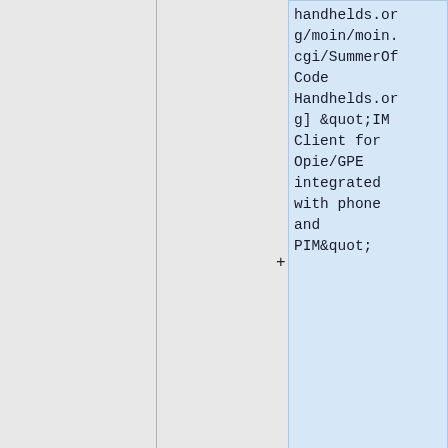handhelds.org/moin/moin.cgi/SummerOfCode Handhelds.org] "IM Client for Opie/GPE integrated with phone and PIM"
* [http://hackage.haskell.org/trac/summer-of-code/query?status=new&status=assigned&status=re